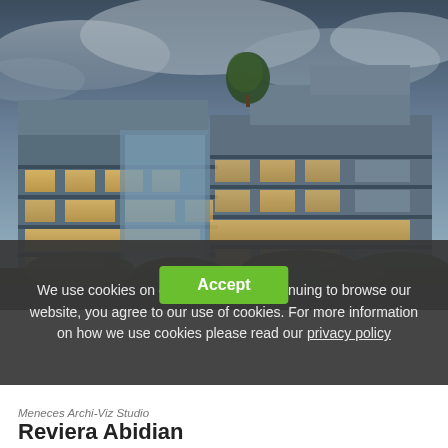[Figure (photo): Architectural rendering of a modern multi-storey residential building with large glass windows, cantilevered balconies, dramatic cloudy sky, and illuminated interiors at dusk. A tree is visible on the rooftop terrace.]
We use cookies on our website. By continuing to browse our website, you agree to our use of cookies. For more information on how we use cookies please read our privacy policy
Accept
Meneces Archi-Viz Studio
Reviera Abidian